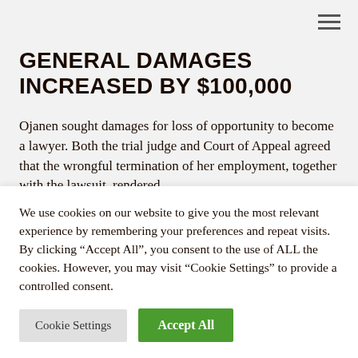GENERAL DAMAGES INCREASED BY $100,000
Ojanen sought damages for loss of opportunity to become a lawyer. Both the trial judge and Court of Appeal agreed that the wrongful termination of her employment, together with the lawsuit, rendered
We use cookies on our website to give you the most relevant experience by remembering your preferences and repeat visits. By clicking “Accept All”, you consent to the use of ALL the cookies. However, you may visit “Cookie Settings” to provide a controlled consent.